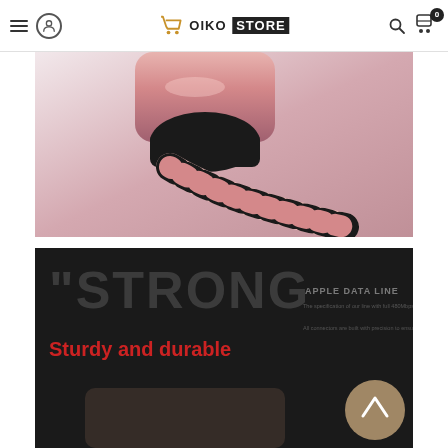OIKO STORE
[Figure (photo): Close-up product photo of a rose gold braided charging cable connector, showing the metallic pink USB connector head with black rubber strain relief and braided cable]
[Figure (photo): Dark promotional banner for Apple data line product with large gray watermark text 'STRONG', red subtitle 'Sturdy and durable', and 'APPLE DATA LINE' label text on the right side]